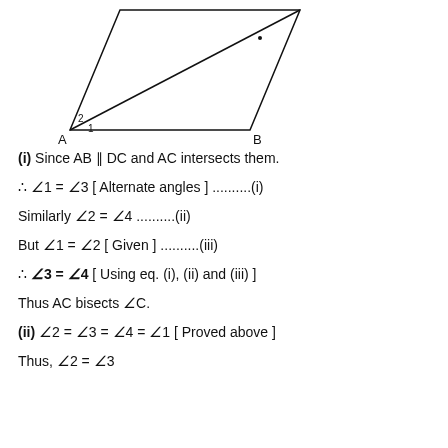[Figure (illustration): Parallelogram ABCD with diagonal AC drawn. Point A is at bottom-left with angles 1 and 2 labeled. Point B is at bottom-right. The shape is a parallelogram tilted, with AB as the base. Labels A and B at the bottom corners.]
(i) Since AB ∥ DC and AC intersects them.
∴ ∠1 = ∠3 [ Alternate angles ] .........(i)
Similarly ∠2 = ∠4 ..........(ii)
But ∠1 = ∠2 [ Given ] ..........(iii)
∴ ∠3 = ∠4 [ Using eq. (i), (ii) and (iii) ]
Thus AC bisects ∠C.
(ii) ∠2 = ∠3 = ∠4 = ∠1 [ Proved above ]
Thus, ∠2 = ∠3